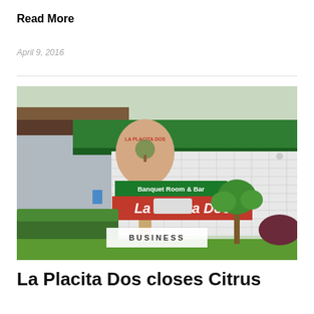Read More
April 9, 2016
[Figure (photo): Exterior photo of La Placita Dos restaurant showing a large sign reading 'La Placita Dos' with 'Banquet Room & Bar' above it, a green awning on the building in the background, and landscaping with hedges and palm plants in front.]
BUSINESS
La Placita Dos closes Citrus